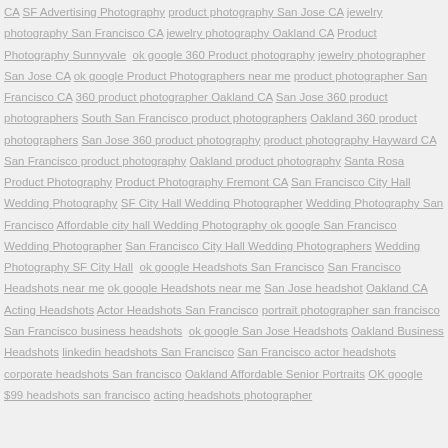CA SF Advertising Photography product photography San Jose CA jewelry photography San Francisco CA jewelry photography Oakland CA Product Photography Sunnyvale  ok google 360 Product photography jewelry photographer San Jose CA ok google Product Photographers near me product photographer San Francisco CA 360 product photographer Oakland CA San Jose 360 product photographers South San Francisco product photographers Oakland 360 product photographers San Jose 360 product photography product photography Hayward CA San Francisco product photography Oakland product photography Santa Rosa Product Photography Product Photography Fremont CA San Francisco City Hall Wedding Photography SF City Hall Wedding Photographer Wedding Photography San Francisco Affordable city hall Wedding Photography ok google San Francisco Wedding Photographer San Francisco City Hall Wedding Photographers Wedding Photography SF City Hall  ok google Headshots San Francisco San Francisco Headshots near me ok google Headshots near me San Jose headshot Oakland CA Acting Headshots Actor Headshots San Francisco portrait photographer san francisco San Francisco business headshots  ok google San Jose Headshots Oakland Business Headshots linkedin headshots San Francisco San Francisco actor headshots corporate headshots San francisco Oakland Affordable Senior Portraits OK google $99 headshots san francisco acting headshots photographer